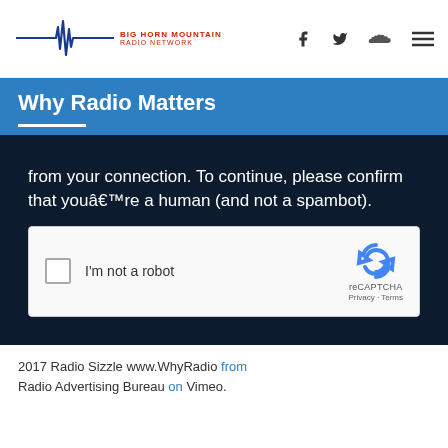Big Horn Mountain Radio Network — navigation header with logo and social icons
Why Radio Matters
[Figure (screenshot): Dark background overlay showing a CAPTCHA verification message: 'from your connection. To continue, please confirm that youâ€™re a human (and not a spambot).' with a reCAPTCHA checkbox widget below saying 'I'm not a robot']
2017 Radio Sizzle www.WhyRadio from Radio Advertising Bureau on Vimeo.